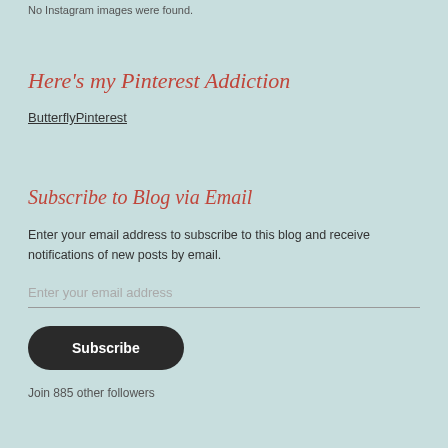No Instagram images were found.
Here's my Pinterest Addiction
ButterflyPinterest
Subscribe to Blog via Email
Enter your email address to subscribe to this blog and receive notifications of new posts by email.
Enter your email address
Subscribe
Join 885 other followers